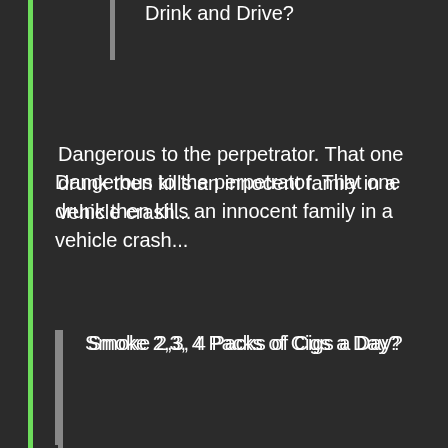Drink and Drive?
Dangerous to the perpetrator. That one drunk then kills an innocent family in a vehicle crash...
Smoke 2,3, 4 Packs of Cigs a Day?
Usually kills the perpetrator with an unhealthy death. Unpleasant smell for all around. Expensive for everyone else for any social care costs for that smoker.